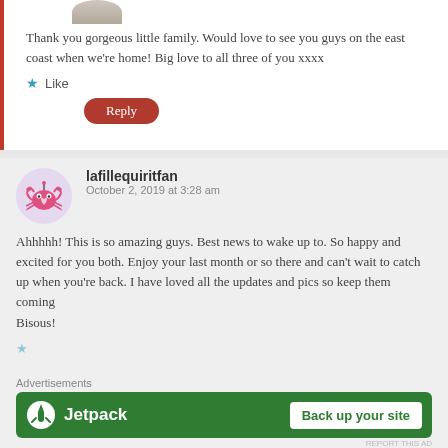Thank you gorgeous little family. Would love to see you guys on the east coast when we're home! Big love to all three of you xxxx
Like
Reply
lafillequiritfan
October 2, 2019 at 3:28 am
Ahhhhh! This is so amazing guys. Best news to wake up to. So happy and excited for you both. Enjoy your last month or so there and can't wait to catch up when you're back. I have loved all the updates and pics so keep them coming
Bisous!
Advertisements
[Figure (other): Jetpack advertisement banner with green background, Jetpack logo and 'Back up your site' white button]